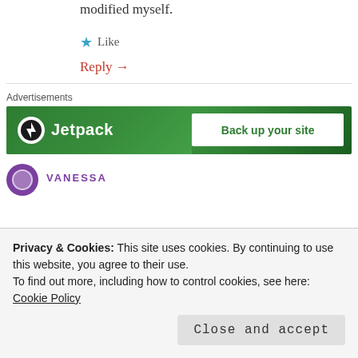modified myself.
★ Like
Reply →
[Figure (screenshot): Jetpack advertisement banner with green background showing 'Jetpack' logo and 'Back up your site' call to action]
VANESSA
Privacy & Cookies: This site uses cookies. By continuing to use this website, you agree to their use.
To find out more, including how to control cookies, see here: Cookie Policy
Close and accept